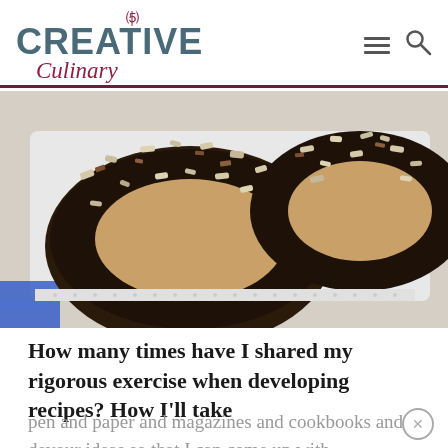CREATIVE Culinary
[Figure (photo): Close-up photo of chocolate-dipped donuts topped with crushed nuts/pretzels on a white plate with a blue ribbon visible in the lower left corner]
How many times have I shared my rigorous exercise when developing recipes? How I'll take pen and paper and magazines and cookbooks and devour ideas so that I can come up with